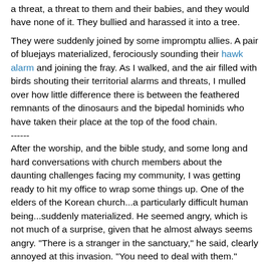a threat, a threat to them and their babies, and they would have none of it.  They bullied and harassed it into a tree.
They were suddenly joined by some impromptu allies.  A pair of bluejays materialized, ferociously sounding their hawk alarm and joining the fray.  As I walked, and the air filled with birds shouting their territorial alarms and threats, I mulled over how little difference there is between the feathered remnants of the dinosaurs and the bipedal hominids who have taken their place at the top of the food chain.
------
After the worship, and the bible study, and some long and hard conversations with church members about the daunting challenges facing my community, I was getting ready to hit my office to wrap some things up.  One of the elders of the Korean church...a particularly difficult human being...suddenly materialized. He seemed angry, which is not much of a surprise, given that he almost always seems angry.   "There is a stranger in the sanctuary," he said, clearly annoyed at this invasion.  "You need to deal with them."